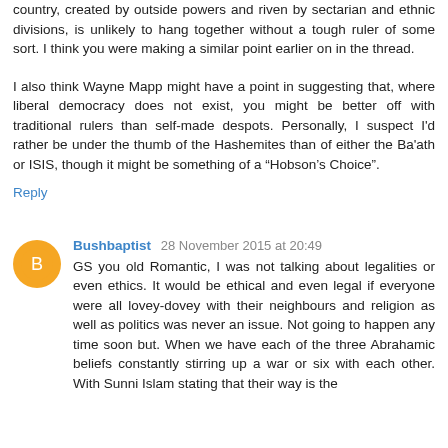country, created by outside powers and riven by sectarian and ethnic divisions, is unlikely to hang together without a tough ruler of some sort. I think you were making a similar point earlier on in the thread.
I also think Wayne Mapp might have a point in suggesting that, where liberal democracy does not exist, you might be better off with traditional rulers than self-made despots. Personally, I suspect I'd rather be under the thumb of the Hashemites than of either the Ba'ath or ISIS, though it might be something of a “Hobson’s Choice”.
Reply
Bushbaptist 28 November 2015 at 20:49
GS you old Romantic, I was not talking about legalities or even ethics. It would be ethical and even legal if everyone were all lovey-dovey with their neighbours and religion as well as politics was never an issue. Not going to happen any time soon but. When we have each of the three Abrahamic beliefs constantly stirring up a war or six with each other. With Sunni Islam stating that their way is the